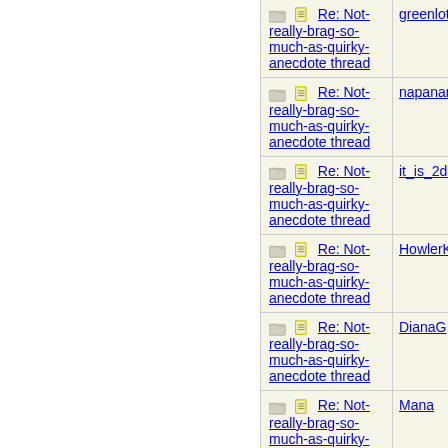| Thread | User |
| --- | --- |
| Re: Not-really-brag-so-much-as-quirky-anecdote thread | greenlotu |
| Re: Not-really-brag-so-much-as-quirky-anecdote thread | napanang |
| Re: Not-really-brag-so-much-as-quirky-anecdote thread | it_is_2da |
| Re: Not-really-brag-so-much-as-quirky-anecdote thread | HowlerKa |
| Re: Not-really-brag-so-much-as-quirky-anecdote thread | DianaG |
| Re: Not-really-brag-so-much-as-quirky-anecdote thread | Mana |
| Re: Not-really- |  |